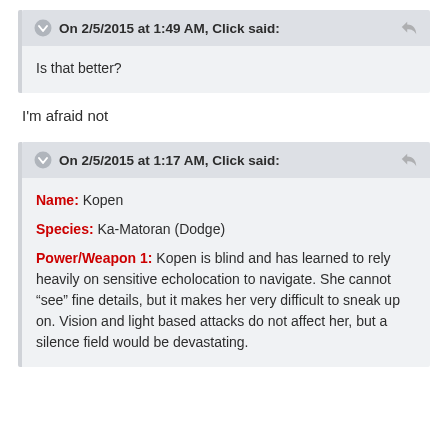On 2/5/2015 at 1:49 AM, Click said:
Is that better?
I'm afraid not
On 2/5/2015 at 1:17 AM, Click said:
Name: Kopen
Species: Ka-Matoran (Dodge)
Power/Weapon 1: Kopen is blind and has learned to rely heavily on sensitive echolocation to navigate. She cannot “see” fine details, but it makes her very difficult to sneak up on. Vision and light based attacks do not affect her, but a silence field would be devastating.